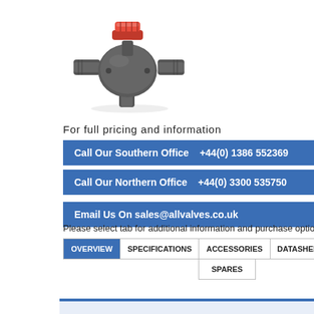[Figure (photo): 3-way PVC ball valve with red lever handle, dark grey body, shown from angled perspective]
For full pricing and information
Call Our Southern Office   +44(0) 1386 552369
Call Our Northern Office   +44(0) 3300 535750
Email Us On sales@allvalves.co.uk
Please select tab for additional information and purchase options.
| OVERVIEW | SPECIFICATIONS | ACCESSORIES | DATASHEETS | VIDEOS |
| --- | --- | --- | --- | --- |
|  |  | SPARES |  |  |